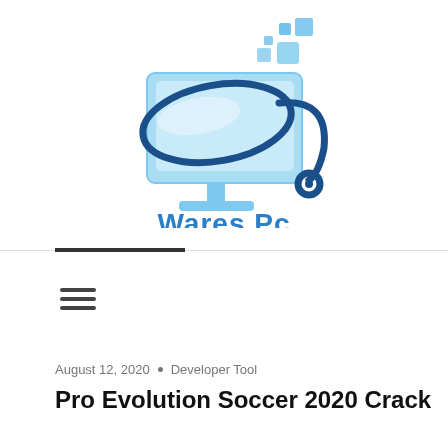[Figure (logo): Wares PC logo: a light blue computer monitor with a dark blue oval swoosh/ring and small floating squares, with the text 'Wares Pc' in blue below]
August 12, 2020 • Developer Tool
Pro Evolution Soccer 2020 Crack